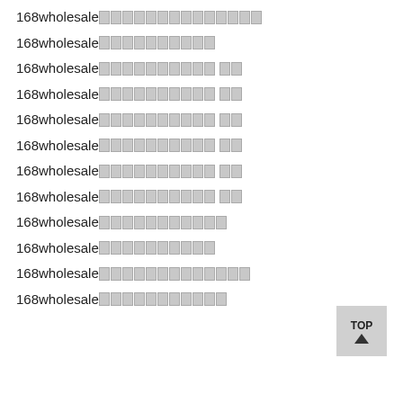168wholesale[tofu x14]
168wholesale[tofu x10]
168wholesale[tofu x10] [tofu x2]
168wholesale[tofu x10] [tofu x2]
168wholesale[tofu x10] [tofu x2]
168wholesale[tofu x10] [tofu x2]
168wholesale[tofu x10] [tofu x2]
168wholesale[tofu x10] [tofu x2]
168wholesale[tofu x11]
168wholesale[tofu x10]
168wholesale[tofu x13]
168wholesale[tofu x11]